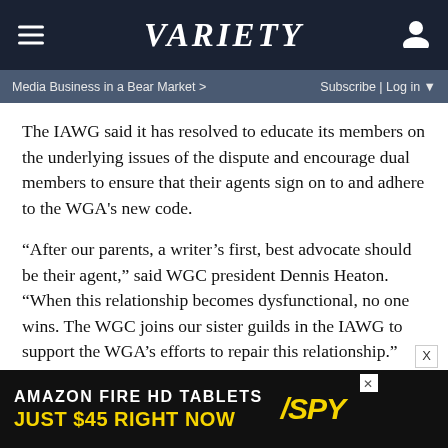VARIETY
Media Business in a Bear Market >   Subscribe | Log in ▼
The IAWG said it has resolved to educate its members on the underlying issues of the dispute and encourage dual members to ensure that their agents sign on to and adhere to the WGA's new code.
“After our parents, a writer’s first, best advocate should be their agent,” said WGC president Dennis Heaton. “When this relationship becomes dysfunctional, no one wins. The WGC joins our sister guilds in the IAWG to support the WGA’s efforts to repair this relationship.”
The 11 guilds in the IAWG have about 50,000 members, including the 15,000 in the WGA. See the letter the IAWG sent to WGA West executive director David Young and WC...
[Figure (screenshot): Amazon Fire HD Tablets advertisement: 'AMAZON FIRE HD TABLETS JUST $45 RIGHT NOW' with SPY logo]